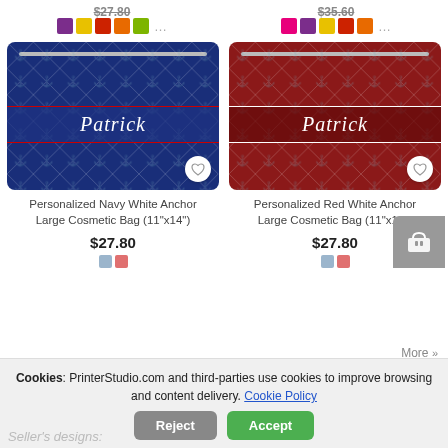$27.80
$27.80
[Figure (photo): Personalized Navy White Anchor Large Cosmetic Bag with name Patrick on it]
[Figure (photo): Personalized Red White Anchor Large Cosmetic Bag with name Patrick on it]
Personalized Navy White Anchor Large Cosmetic Bag (11"x14")
Personalized Red White Anchor Large Cosmetic Bag (11"x14")
$27.80
$27.80
Cookies: PrinterStudio.com and third-parties use cookies to improve browsing and content delivery. Cookie Policy
Reject
Accept